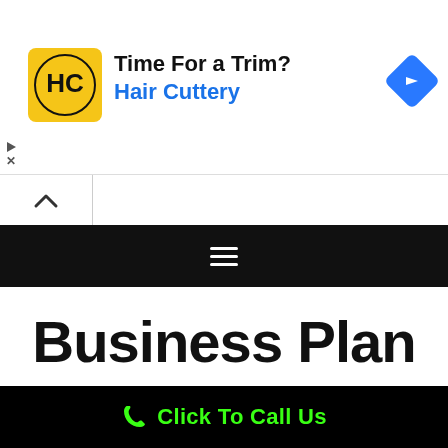[Figure (screenshot): Hair Cuttery advertisement banner with logo, headline 'Time For a Trim?' and 'Hair Cuttery' brand name in blue, with a blue navigation arrow icon on the right]
[Figure (screenshot): Navigation bar with upward-pointing chevron button on left]
[Figure (screenshot): Black navigation bar with white hamburger menu icon]
Business Plan
[Figure (infographic): Horizontal divider with hamburger menu icon between two horizontal lines]
[Figure (screenshot): Black footer bar with green phone icon and 'Click To Call Us' text in green]